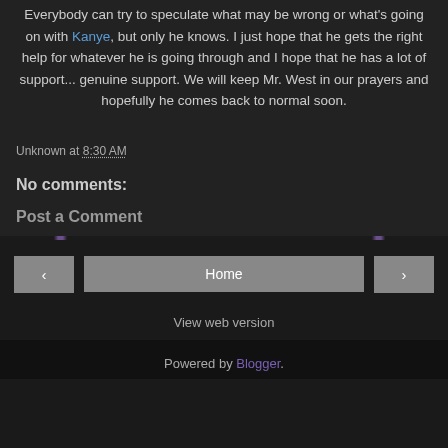Everybody can try to speculate what may be wrong or what's going on with Kanye, but only he knows. I just hope that he gets the right help for whatever he is going through and I hope that he has a lot of support... genuine support. We will keep Mr. West in our prayers and hopefully he comes back to normal soon.
Unknown at 8:30 AM
No comments:
Post a Comment
Home
View web version
Powered by Blogger.